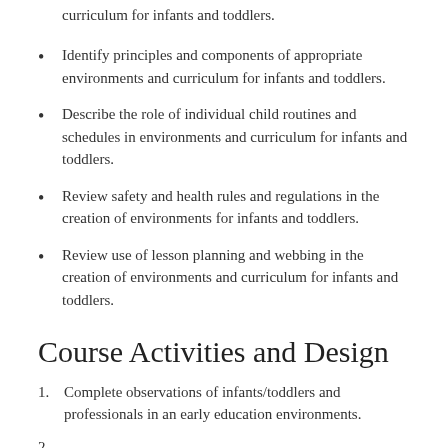curriculum for infants and toddlers.
Identify principles and components of appropriate environments and curriculum for infants and toddlers.
Describe the role of individual child routines and schedules in environments and curriculum for infants and toddlers.
Review safety and health rules and regulations in the creation of environments for infants and toddlers.
Review use of lesson planning and webbing in the creation of environments and curriculum for infants and toddlers.
Course Activities and Design
Complete observations of infants/toddlers and professionals in an early education environments.
2.